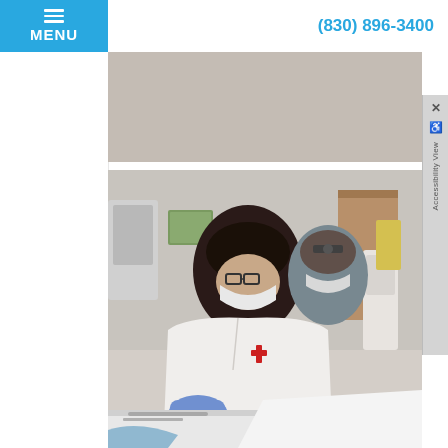MENU  (830) 896-3400
[Figure (photo): Gray placeholder image block at the top of the content area]
[Figure (photo): Dental office photo showing two dental professionals in masks and gloves working at a dental station. The foreground person wears a white coat and blue gloves, the background person wears gray scrubs.]
[Figure (infographic): Accessibility View panel on the right side with close X button and wheelchair icon]